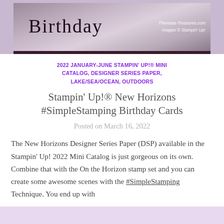[Figure (photo): Photo of a birthday card with script 'Birthday' text on a dark-bordered card, with watermark text 'Theresas-Treasures.com Images © Stampin' Up!']
2022 JANUARY-JUNE STAMPIN' UP!® MINI CATALOG, DESIGNER SERIES PAPER, LAKE/SEA/OCEAN, OUTDOORS
Stampin' Up!® New Horizons #SimpleStamping Birthday Cards
Posted on March 16, 2022
The New Horizons Designer Series Paper (DSP) available in the Stampin' Up! 2022 Mini Catalog is just gorgeous on its own. Combine that with the On the Horizon stamp set and you can create some awesome scenes with the #SimpleStamping Technique. You end up with